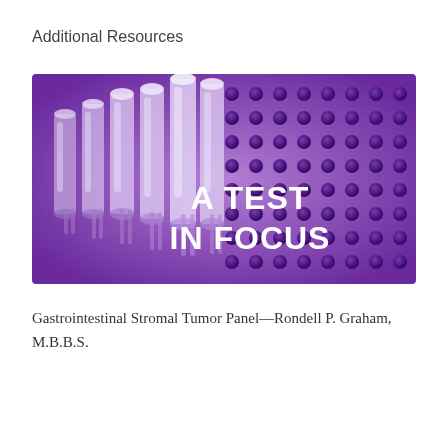Additional Resources
[Figure (photo): Purple laboratory well plate with clear plastic tube inserts in the left portion of the image. White bold text on the right side reads 'A TEST IN FOCUS'.]
Gastrointestinal Stromal Tumor Panel—Rondell P. Graham, M.B.B.S.